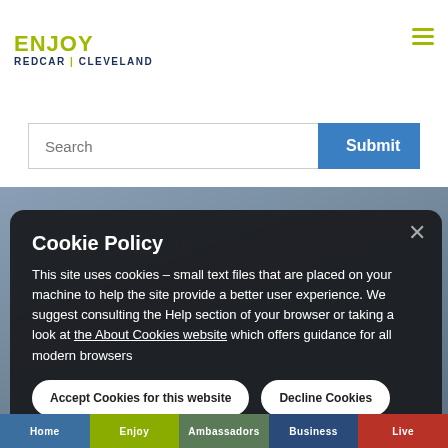ENJOY REDCAR | CLEVELAND
Search
[Figure (screenshot): Hero background image showing a walking scene with blueish-grey sky, watermark text WALKING in golden/olive color]
Cookie Policy
This site uses cookies – small text files that are placed on your machine to help the site provide a better user experience. We suggest consulting the Help section of your browser or taking a look at the About Cookies website which offers guidance for all modern browsers
Accept Cookies for this website
Decline Cookies
Home  Enjoy  Ambassadors  Business  Live